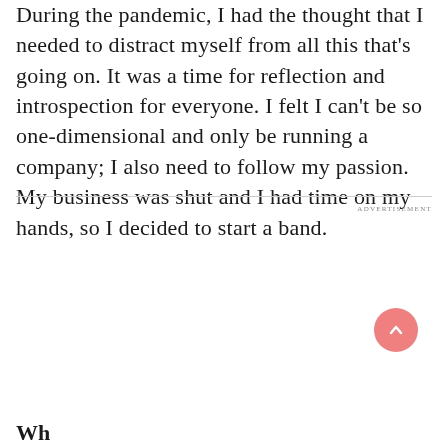During the pandemic, I had the thought that I needed to distract myself from all this that's going on. It was a time for reflection and introspection for everyone. I felt I can't be so one-dimensional and only be running a company; I also need to follow my passion. My business was shut and I had time on my hands, so I decided to start a band.
ADVERTISEMENT
Wh...